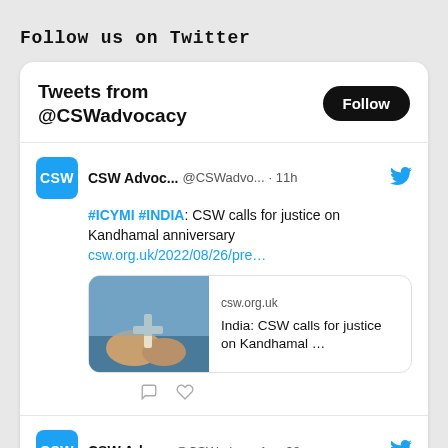Follow us on Twitter
[Figure (screenshot): Twitter widget showing tweets from @CSWadvocacy. Header says 'Tweets from @CSWadvocacy' with a Follow button. First tweet from CSW Advoc... @CSWadvo... 11h: #ICYCMI #INDIA: CSW calls for justice on Kandhamal anniversary csw.org.uk/2022/08/26/pre... with a link card showing csw.org.uk - India: CSW calls for justice on Kandhamal... Second tweet from CSW Advo... @CSWadv... Aug 28: #EU diplomacy could make use of...]